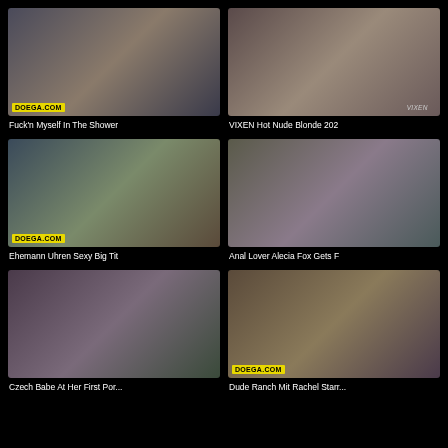[Figure (photo): Video thumbnail 1]
Fuck'n Myself In The Shower
[Figure (photo): Video thumbnail 2]
VIXEN Hot Nude Blonde 202
[Figure (photo): Video thumbnail 3]
Ehemann Uhren Sexy Big Tit
[Figure (photo): Video thumbnail 4]
Anal Lover Alecia Fox Gets F
[Figure (photo): Video thumbnail 5]
Czech Babe At Her First Por...
[Figure (photo): Video thumbnail 6]
Dude Ranch Mit Rachel Starr...